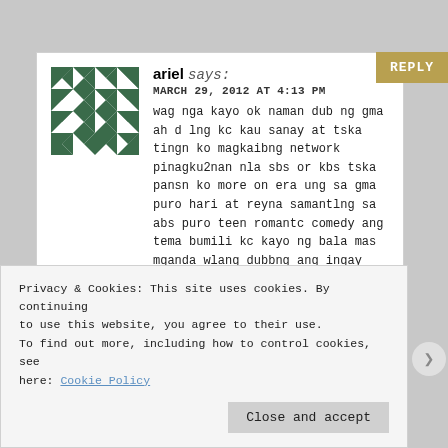REPLY
ariel says:
MARCH 29, 2012 AT 4:13 PM
wag nga kayo ok naman dub ng gma ah d lng kc kau sanay at tska tingn ko magkaibng network pinagku2nan nla sbs or kbs tska pansn ko more on era ung sa gma puro hari at reyna samantlng sa abs puro teen romantc comedy ang tema bumili kc kayo ng bala mas mganda wlang dubbng ang ingay nyo!
Privacy & Cookies: This site uses cookies. By continuing to use this website, you agree to their use. To find out more, including how to control cookies, see here: Cookie Policy
Close and accept